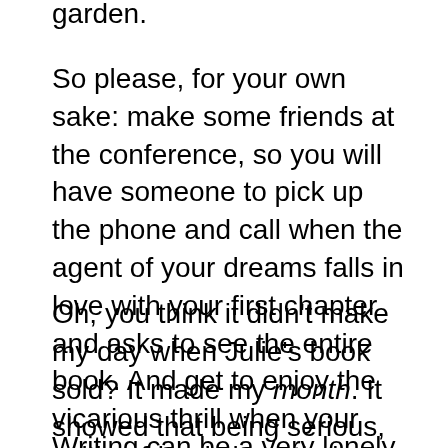garden.
So please, for your own sake: make some friends at the conference, so you will have someone to pick up the phone and call when the agent of your dreams falls in love with your first chapter and asks to see the entire book. And get to enjoy the vicarious thrill when your writing friends leap their hurdles, too.
Oh, you think it didn't make my day when Julie’s book sold? It made my month. It showed that being serious, talented, and smart can indeed pay off in the long run.
Writing can be a very lonely